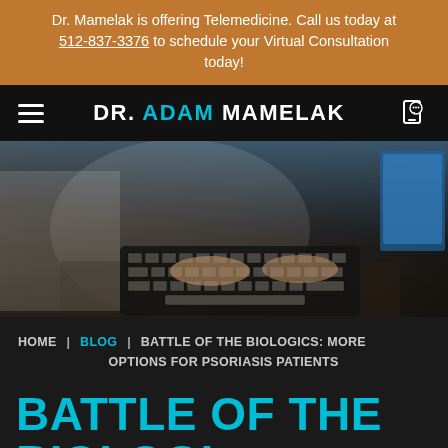Dr. Mamelak is offering Telemedicine. Call us today at 512-837-3376 to schedule your Virtual Consultation today!
DR. ADAM MAMELAK
[Figure (photo): Doctor or medical professional typing on a keyboard at a desk with a monitor in the background, dimly lit scene]
HOME | BLOG | BATTLE OF THE BIOLOGICS: MORE OPTIONS FOR PSORIASIS PATIENTS
BATTLE OF THE BIOLOGICS: MORE OPTIONS FOR